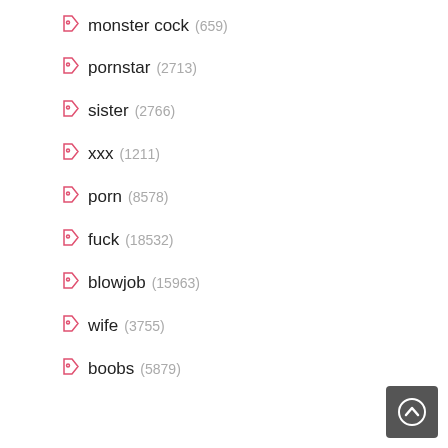monster cock (659)
pornstar (2713)
sister (2766)
xxx (1211)
porn (8578)
fuck (18532)
blowjob (15963)
wife (3755)
boobs (5879)